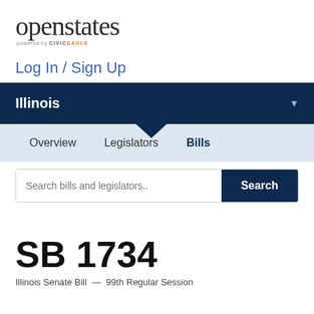[Figure (logo): OpenStates logo — 'openstates' in large dark grey serif text, 'powered by CIVIC EAGLE' in small text below]
Log In / Sign Up
Illinois
Overview  Legislators  Bills
Search bills and legislators..
SB 1734
Illinois Senate Bill  —  99th Regular Session